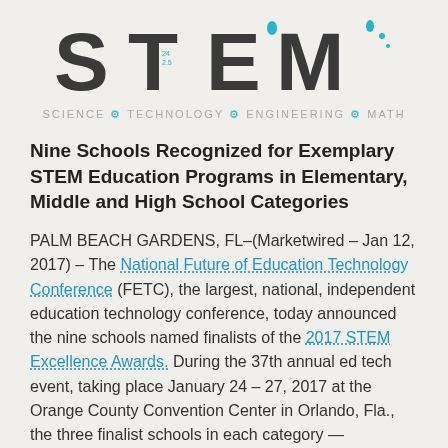[Figure (logo): STEM logo with large letters S T E M in dark gray/charcoal with teal blue accents and water drops; tagline reads SCIENCE • TECHNOLOGY • ENGINEERING • MATH in light gray with teal gear/dot separators]
Nine Schools Recognized for Exemplary STEM Education Programs in Elementary, Middle and High School Categories
PALM BEACH GARDENS, FL–(Marketwired – Jan 12, 2017) – The National Future of Education Technology Conference (FETC), the largest, national, independent education technology conference, today announced the nine schools named finalists of the 2017 STEM Excellence Awards. During the 37th annual ed tech event, taking place January 24 – 27, 2017 at the Orange County Convention Center in Orlando, Fla., the three finalist schools in each category — elementary, middle and high school — will present